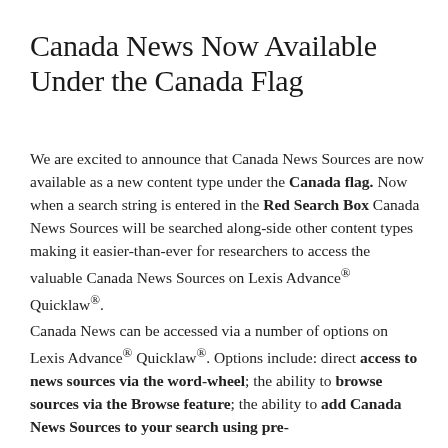Canada News Now Available Under the Canada Flag
We are excited to announce that Canada News Sources are now available as a new content type under the Canada flag. Now when a search string is entered in the Red Search Box Canada News Sources will be searched along-side other content types making it easier-than-ever for researchers to access the valuable Canada News Sources on Lexis Advance® Quicklaw®.
Canada News can be accessed via a number of options on Lexis Advance® Quicklaw®. Options include: direct access to news sources via the word-wheel; the ability to browse sources via the Browse feature; the ability to add Canada News Sources to your search using pre-